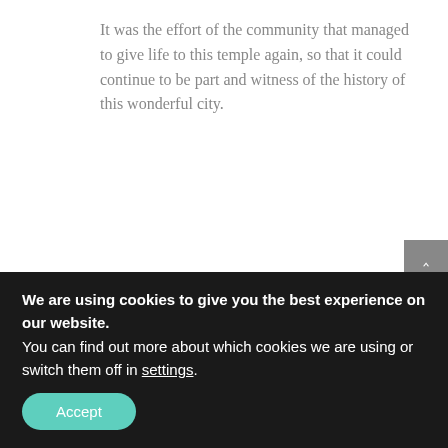It was the effort of the community that managed to give life to this temple again, so that it could continue to be part and witness of the history of this wonderful city.
Why “Santa María del Pi”?
An unmissable element of the Plaza de Santa María del Pi is the pine. Because, let’s say it already, “pi” in Catalan means “pine”.
[Figure (photo): Left photo: dark stone columns or wall with building and green tree in background.]
[Figure (photo): Right photo: large pine tree against blue sky with building facade.]
We are using cookies to give you the best experience on our website.
You can find out more about which cookies we are using or switch them off in settings.
Accept